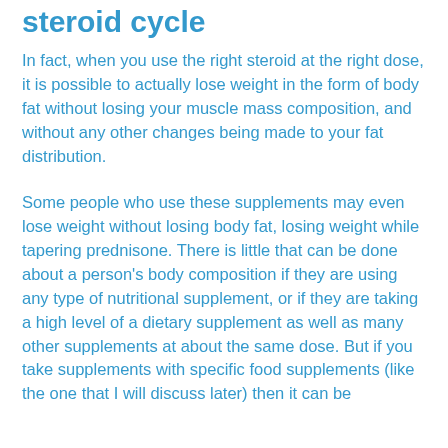steroid cycle
In fact, when you use the right steroid at the right dose, it is possible to actually lose weight in the form of body fat without losing your muscle mass composition, and without any other changes being made to your fat distribution.
Some people who use these supplements may even lose weight without losing body fat, losing weight while tapering prednisone. There is little that can be done about a person's body composition if they are using any type of nutritional supplement, or if they are taking a high level of a dietary supplement as well as many other supplements at about the same dose. But if you take supplements with specific food supplements (like the one that I will discuss later) then it can be